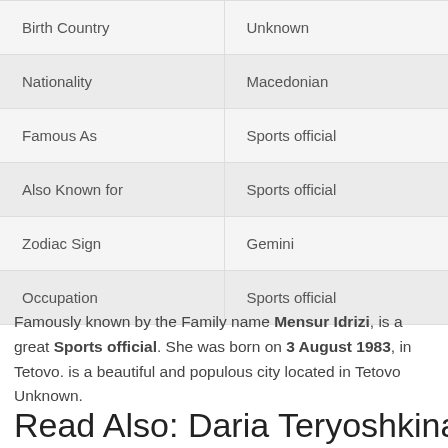|  |  |
| --- | --- |
| Birth Country | Unknown |
| Nationality | Macedonian |
| Famous As | Sports official |
| Also Known for | Sports official |
| Zodiac Sign | Gemini |
| Occupation | Sports official |
Famously known by the Family name Mensur Idrizi, is a great Sports official. She was born on 3 August 1983, in Tetovo. is a beautiful and populous city located in Tetovo Unknown.
Read Also: Daria Teryoshkina